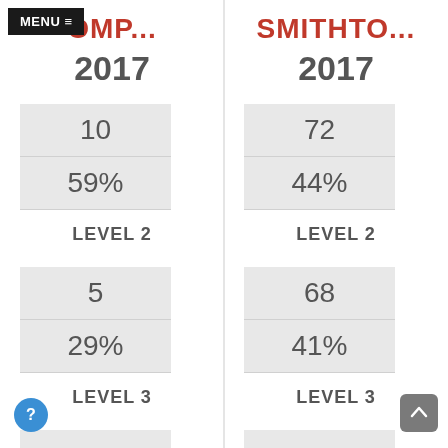MENU ≡
OMP...
2017
10
59%
LEVEL 2
5
29%
LEVEL 3
1
SMITHTO...
2017
72
44%
LEVEL 2
68
41%
LEVEL 3
22